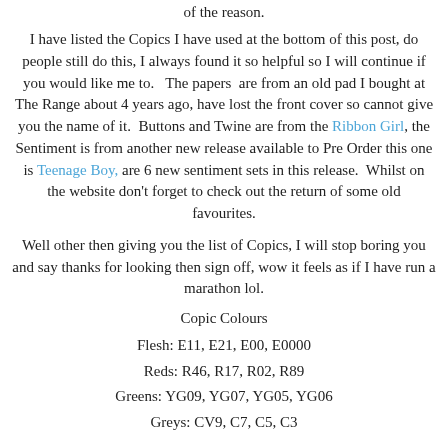of the reason.
I have listed the Copics I have used at the bottom of this post, do people still do this, I always found it so helpful so I will continue if you would like me to.   The papers  are from an old pad I bought at The Range about 4 years ago, have lost the front cover so cannot give you the name of it.  Buttons and Twine are from the Ribbon Girl, the Sentiment is from another new release available to Pre Order this one is Teenage Boy, are 6 new sentiment sets in this release.  Whilst on the website don't forget to check out the return of some old favourites.
Well other then giving you the list of Copics, I will stop boring you and say thanks for looking then sign off, wow it feels as if I have run a marathon lol.
Copic Colours
Flesh: E11, E21, E00, E0000
Reds: R46, R17, R02, R89
Greens: YG09, YG07, YG05, YG06
Greys: CV9, C7, C5, C3